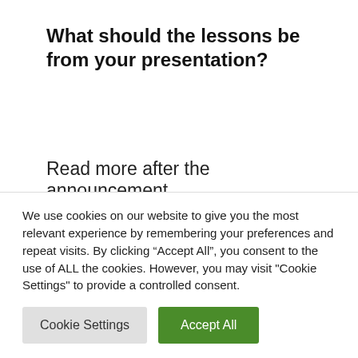What should the lessons be from your presentation?
Read more after the announcement
Read more after the announcement
We must prepare for all eventualities so that we can respond quickly. And we must watch
We use cookies on our website to give you the most relevant experience by remembering your preferences and repeat visits. By clicking “Accept All”, you consent to the use of ALL the cookies. However, you may visit "Cookie Settings" to provide a controlled consent.